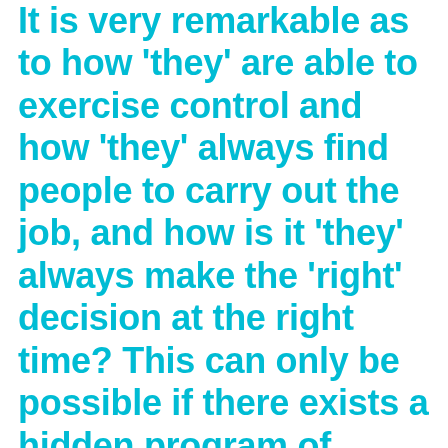It is very remarkable as to how 'they' are able to exercise control and how 'they' always find people to carry out the job, and how is it 'they' always make the 'right' decision at the right time? This can only be possible if there exists a hidden program of inducting and training cadres mentally,